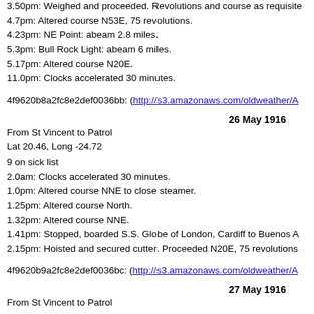3.50pm: Weighed and proceeded. Revolutions and course as requisite
4.7pm: Altered course N53E, 75 revolutions.
4.23pm: NE Point: abeam 2.8 miles.
5.3pm: Bull Rock Light: abeam 6 miles.
5.17pm: Altered course N20E.
11.0pm: Clocks accelerated 30 minutes.
4f9620b8a2fc8e2def0036bb: (http://s3.amazonaws.com/oldweather/A
26 May 1916
From St Vincent to Patrol
Lat 20.46, Long -24.72
9 on sick list
2.0am: Clocks accelerated 30 minutes.
1.0pm: Altered course NNE to close steamer.
1.25pm: Altered course North.
1.32pm: Altered course NNE.
1.41pm: Stopped, boarded S.S. Globe of London, Cardiff to Buenos A
2.15pm: Hoisted and secured cutter. Proceeded N20E, 75 revolutions
4f9620b9a2fc8e2def0036bc: (http://s3.amazonaws.com/oldweather/A
27 May 1916
From St Vincent to Patrol
Lat 24.69, Long -23.75
8 on sick list
4f9620b9a2fc8e2def0036bd: (http://s3.amazonaws.com/oldweather/A
28 May 1916